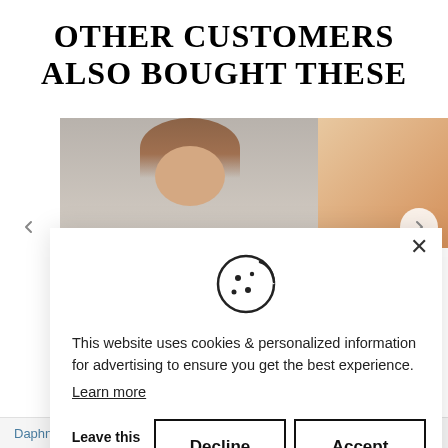OTHER CUSTOMERS ALSO BOUGHT THESE
[Figure (photo): Two fashion product photos partially visible behind a cookie consent modal. Left: a woman in a light outfit against a gray background. Right: a partial image with orange/warm tones.]
This website uses cookies & personalized information for advertising to ensure you get the best experience.
Learn more
Leave this site
Decline
Accept
Daphne Pencil Dress
Lydia Slee